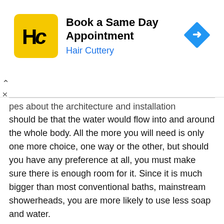[Figure (infographic): Hair Cuttery ad banner: yellow square logo with HC letters, text 'Book a Same Day Appointment' and 'Hair Cuttery' in blue, blue diamond arrow icon on right]
pes about the architecture and installation should be that the water would flow into and around the whole body. All the more you will need is only one more choice, one way or the other, but should you have any preference at all, you must make sure there is enough room for it. Since it is much bigger than most conventional baths, mainstream showerheads, you are more likely to use less soap and water.
Handheld Shower Heads
Both mobility and ease of use are of installation are features of this style of showerhead that distinguish it from conventional models. As a hose it is incredibly light and can be quickly transfer, you prefer being hook to the